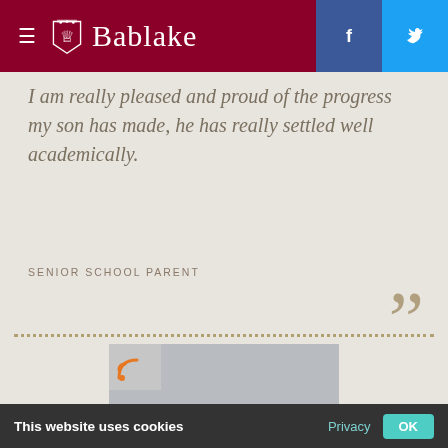Bablake
I am really pleased and proud of the progress my son has made, he has really settled well academically.
SENIOR SCHOOL PARENT
[Figure (photo): Two people — an adult man and a young boy — smiling outdoors at what appears to be a sports event. The man wears glasses, a suit and tie; the boy wears glasses and a red and white scarf.]
This website uses cookies  Privacy  OK